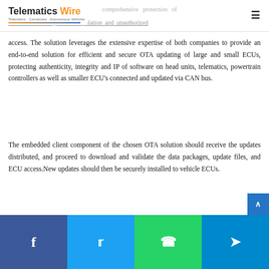Telematics Wire
ESCRYPT, the leading system provider for embedded security, … comprehensive protection of transferred data against manipulation and unauthorized access. The solution leverages the extensive expertise of both companies to provide an end-to-end solution for efficient and secure OTA updating of large and small ECUs, protecting authenticity, integrity and IP of software on head units, telematics, powertrain controllers as well as smaller ECU's connected and updated via CAN bus.
The embedded client component of the chosen OTA solution should receive the updates distributed, and proceed to download and validate the data packages, update files, and ECU access.New updates should then be securely installed to vehicle ECUs.
Facebook | Twitter | WhatsApp | Telegram